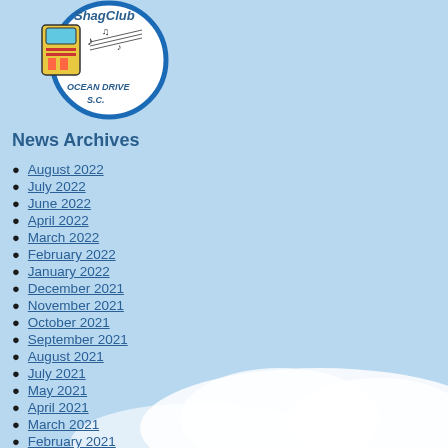[Figure (logo): ShagClub Ocean Drive S.C. circular logo with jukebox and musical notes illustration]
News Archives
August 2022
July 2022
June 2022
April 2022
March 2022
February 2022
January 2022
December 2021
November 2021
October 2021
September 2021
August 2021
July 2021
May 2021
April 2021
March 2021
February 2021
January 2021